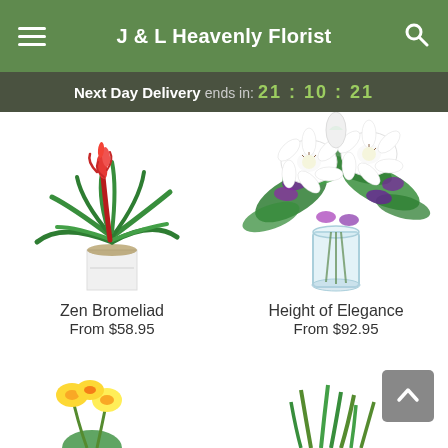J & L Heavenly Florist
Next Day Delivery ends in: 21:10:21
[Figure (photo): Zen Bromeliad plant in white pot with red flower spike]
Zen Bromeliad
From $58.95
[Figure (photo): Height of Elegance white lily and purple flower arrangement in glass vase]
Height of Elegance
From $92.95
[Figure (photo): Partial view of yellow flower arrangement at bottom left]
[Figure (photo): Partial view of green grass/lily arrangement at bottom right]